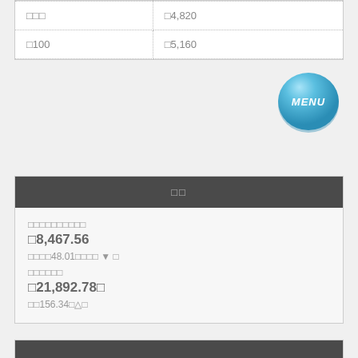| □□□ | □4,820 |
| □100 | □5,160 |
[Figure (illustration): A blue glossy circular button with the text MENU in white italic letters]
□□
□□□□□□□□□□
□8,467.56
□□□□48.01□□□□ ▼ □
□□□□□□
□21,892.78□
□□156.34□△□